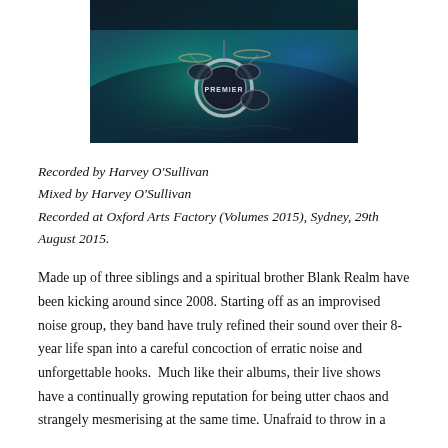[Figure (photo): Concert/stage photo taken from above showing a drum kit (Premier brand) on a lit stage with blue-green lighting, viewed from a bird's-eye/fisheye perspective.]
Recorded by Harvey O'Sullivan
Mixed by Harvey O'Sullivan
Recorded at Oxford Arts Factory (Volumes 2015), Sydney, 29th August 2015.
Made up of three siblings and a spiritual brother Blank Realm have been kicking around since 2008. Starting off as an improvised noise group, they band have truly refined their sound over their 8-year life span into a careful concoction of erratic noise and unforgettable hooks.  Much like their albums, their live shows have a continually growing reputation for being utter chaos and strangely mesmerising at the same time. Unafraid to throw in a